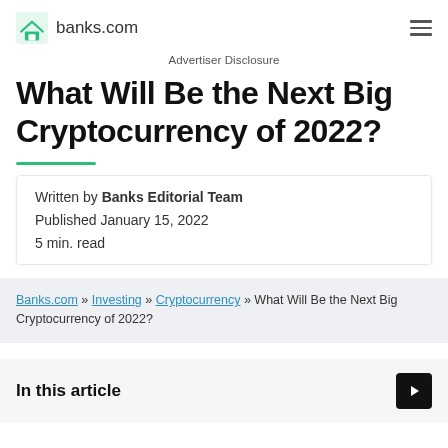banks.com
Advertiser Disclosure
What Will Be the Next Big Cryptocurrency of 2022?
Written by Banks Editorial Team
Published January 15, 2022
5 min. read
Banks.com » Investing » Cryptocurrency » What Will Be the Next Big Cryptocurrency of 2022?
In this article